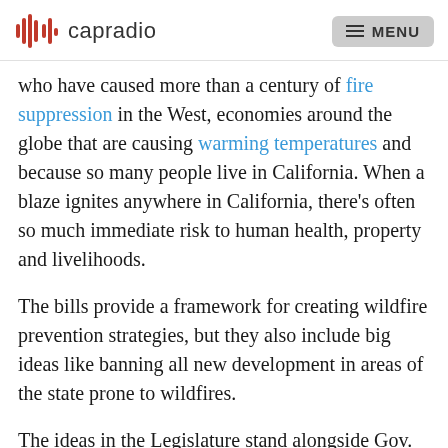capradio | MENU
who have caused more than a century of fire suppression in the West, economies around the globe that are causing warming temperatures and because so many people live in California. When a blaze ignites anywhere in California, there's often so much immediate risk to human health, property and livelihoods.

The bills provide a framework for creating wildfire prevention strategies, but they also include big ideas like banning all new development in areas of the state prone to wildfires.

The ideas in the Legislature stand alongside Gov. Gavin Newsom's recent proposal to invest a billion dollars into wildfire prevention in the next year and